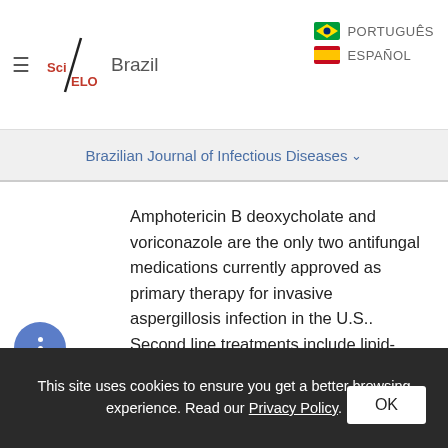SciELO Brazil
Brazilian Journal of Infectious Diseases
Amphotericin B deoxycholate and voriconazole are the only two antifungal medications currently approved as primary therapy for invasive aspergillosis infection in the U.S.. Second line treatments include lipid-based formulations of amphotericin, itraconazole and caspofungin [9,10]. Voriconazole was authorized for use by the FDA in the U.S. and by ANVISA in Brazil in 2002, for the treatment of invasive fungal infections [6]. It is
This site uses cookies to ensure you get a better browsing experience. Read our Privacy Policy.